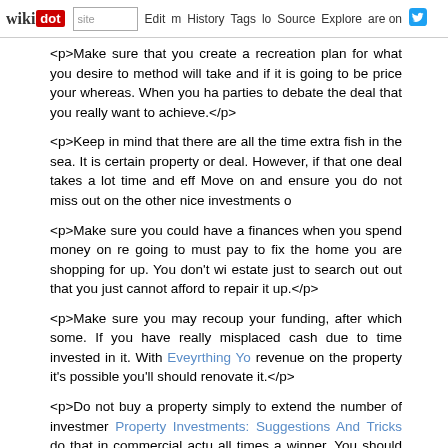wikidot | site | Edit | History | Tags | Source | Explore | Share on Twitter
<p>Make sure that you create a recreation plan for what you desire to method will take and if it is going to be price your whereas. When you ha parties to debate the deal that you really want to achieve.</p>
<p>Keep in mind that there are all the time extra fish in the sea. It is certain property or deal. However, if that one deal takes a lot time and eff Move on and ensure you do not miss out on the other nice investments o</p>
<p>Make sure you could have a finances when you spend money on re going to must pay to fix the home you are shopping for up. You don't wi estate just to search out out that you just cannot afford to repair it up.</p>
<p>Make sure you may recoup your funding, after which some. If you have really misplaced cash due to time invested in it. With Eveyrthing Yo revenue on the property it's possible you'll should renovate it.</p>
<p>Do not buy a property simply to extend the number of investmer Property Investments: Suggestions And Tricks do that in commercial actu all times a winner. You should at all times have the mindset of high c integrity of your investments.</p>
<p>Before shopping for actual estate, look into the native government. Yo Look for data with regard to city planning which will have an effect on futu often a very good funding.</p>
<p>Signal as much as obtain information about foreclosures, this fashio right away. This can prevent the time and problem of contacting area co present data that may help you search accurately.</p>